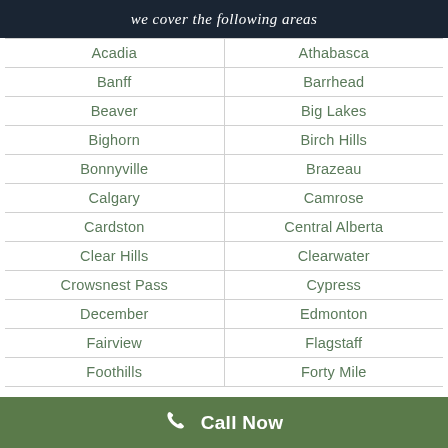we cover the following areas
| Acadia | Athabasca |
| Banff | Barrhead |
| Beaver | Big Lakes |
| Bighorn | Birch Hills |
| Bonnyville | Brazeau |
| Calgary | Camrose |
| Cardston | Central Alberta |
| Clear Hills | Clearwater |
| Crowsnest Pass | Cypress |
| December | Edmonton |
| Fairview | Flagstaff |
| Foothills | Forty Mile |
Call Now